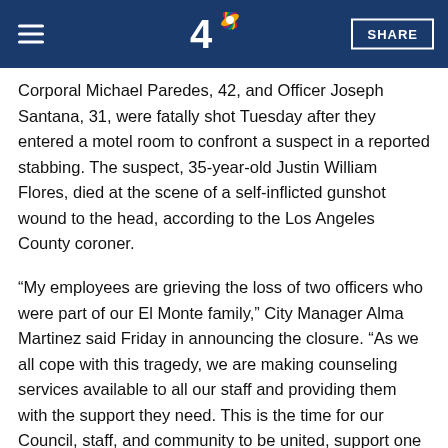NBC4 - Menu | Logo | SHARE
Corporal Michael Paredes, 42, and Officer Joseph Santana, 31, were fatally shot Tuesday after they entered a motel room to confront a suspect in a reported stabbing. The suspect, 35-year-old Justin William Flores, died at the scene of a self-inflicted gunshot wound to the head, according to the Los Angeles County coroner.
“My employees are grieving the loss of two officers who were part of our El Monte family,” City Manager Alma Martinez said Friday in announcing the closure. “As we all cope with this tragedy, we are making counseling services available to all our staff and providing them with the support they need. This is the time for our Council, staff, and community to be united, support one another and grow closer together as we heal.”